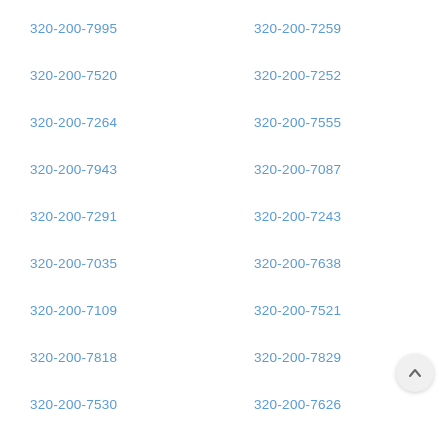320-200-7995
320-200-7259
320-200-7520
320-200-7252
320-200-7264
320-200-7555
320-200-7943
320-200-7087
320-200-7291
320-200-7243
320-200-7035
320-200-7638
320-200-7109
320-200-7521
320-200-7818
320-200-7829
320-200-7530
320-200-7626